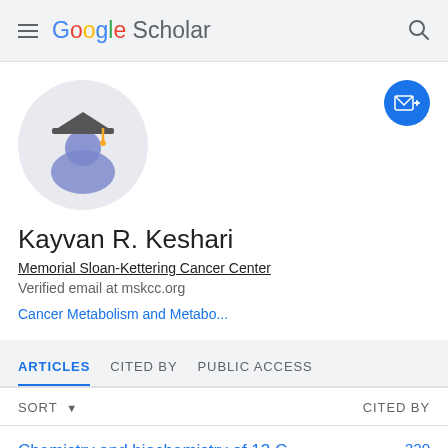Google Scholar
[Figure (illustration): Google Scholar profile avatar: graduation cap icon on a blue silhouette figure, in a light gray circle background]
[Figure (illustration): Blue circular follow/email button with envelope and plus icon]
Kayvan R. Keshari
Memorial Sloan-Kettering Cancer Center
Verified email at mskcc.org
Cancer Metabolism and Metabo...
ARTICLES    CITED BY    PUBLIC ACCESS
SORT ▾    CITED BY
Chemistry and biochemistry of 13 C    320